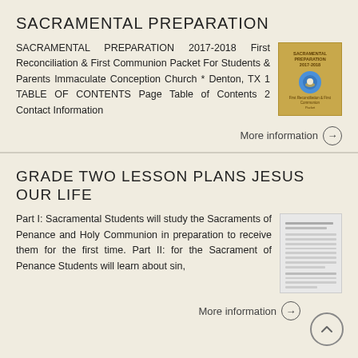SACRAMENTAL PREPARATION
SACRAMENTAL PREPARATION 2017-2018 First Reconciliation & First Communion Packet For Students & Parents Immaculate Conception Church * Denton, TX 1 TABLE OF CONTENTS Page Table of Contents 2 Contact Information
[Figure (illustration): Thumbnail image of a yellow/gold booklet cover titled Sacramental Preparation with a blue circular emblem]
More information →
GRADE TWO LESSON PLANS JESUS OUR LIFE
Part I: Sacramental Students will study the Sacraments of Penance and Holy Communion in preparation to receive them for the first time. Part II: for the Sacrament of Penance Students will learn about sin,
[Figure (illustration): Thumbnail image of a document page with lines of text, appears to be a lesson plan]
More information →